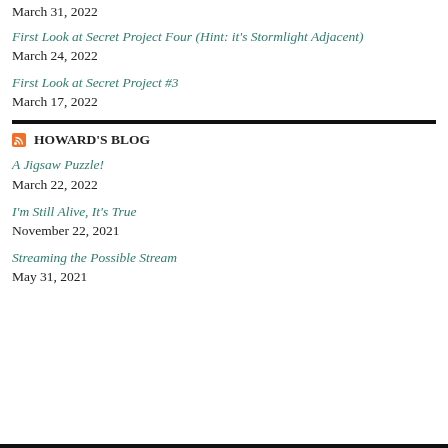March 31, 2022
First Look at Secret Project Four (Hint: it’s Stormlight Adjacent)
March 24, 2022
First Look at Secret Project #3
March 17, 2022
HOWARD’S BLOG
A Jigsaw Puzzle!
March 22, 2022
I’m Still Alive, It’s True
November 22, 2021
Streaming the Possible Stream
May 31, 2021